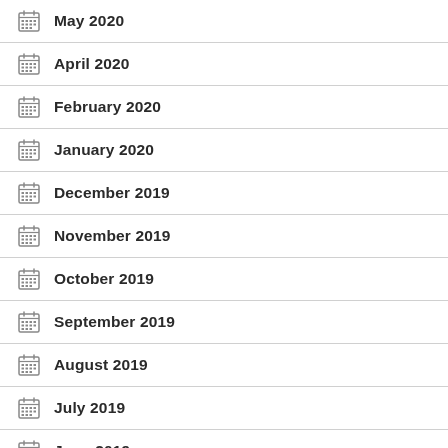May 2020
April 2020
February 2020
January 2020
December 2019
November 2019
October 2019
September 2019
August 2019
July 2019
June 2019